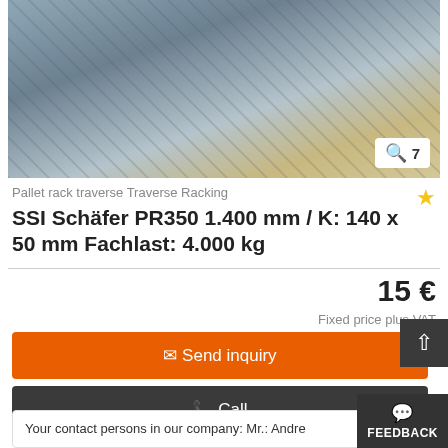[Figure (photo): Pallet rack traverses stacked on a wooden pallet outdoors on cobblestone pavement. Photo zoom indicator showing '7' in bottom right corner.]
Pallet rack traverse Traverse Racking
SSI Schäfer PR350 1.400 mm / K: 140 x 50 mm Fachlast: 4.000 kg
15 €
Fixed price plus VAT
Send inquiry
Call
Neukamperfehn
good (used)
Your contact persons in our company: Mr.: Andre
FEEDBACK